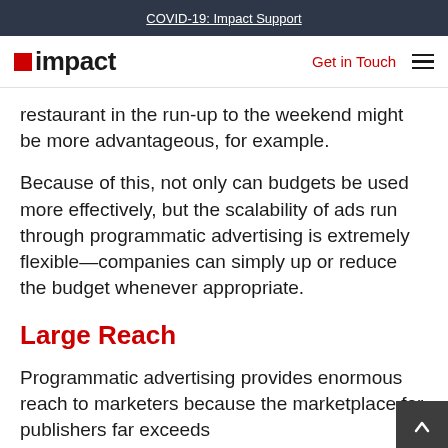COVID-19: Impact Support
impact | Get in Touch
restaurant in the run-up to the weekend might be more advantageous, for example.
Because of this, not only can budgets be used more effectively, but the scalability of ads run through programmatic advertising is extremely flexible—companies can simply up or reduce the budget whenever appropriate.
Large Reach
Programmatic advertising provides enormous reach to marketers because the marketplace for publishers far exceeds